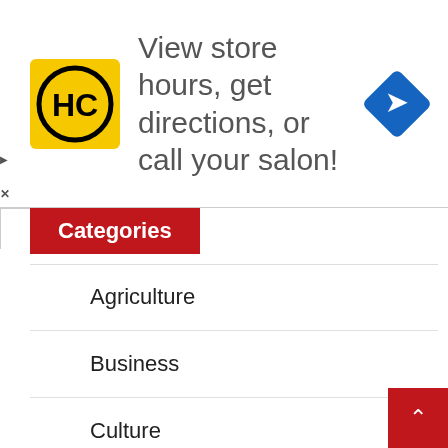[Figure (infographic): Advertisement banner for HC (Hair Club or similar) salon: logo with HC letters on yellow background, text 'View store hours, get directions, or call your salon!', blue navigation diamond icon on right.]
Categories
Agriculture
Business
Culture
Education
Entertainment
Environment